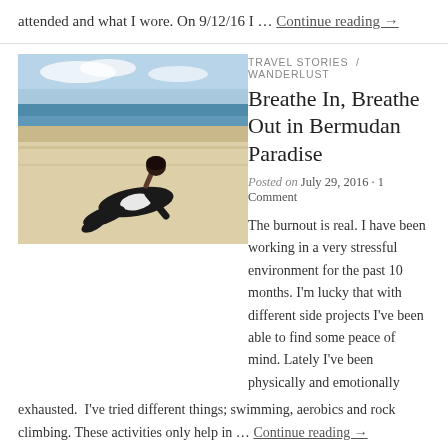attended and what I wore. On 9/12/16 I … Continue reading →
[Figure (photo): Person in black and white swimsuit doing yoga pose on a sandy beach with ocean and sky in background]
TRAVEL STORIES / WANDERLUST
Breathe In, Breathe Out in Bermudan Paradise
Posted on July 29, 2016 · 1 Comment
The burnout is real. I have been working in a very stressful environment for the past 10 months. I'm lucky that with different side projects I've been able to find some peace of mind. Lately I've been physically and emotionally exhausted.  I've tried different things; swimming, aerobics and rock climbing. These activities only help in … Continue reading →
[Figure (photo): Partial view of another article image at the bottom of the page]
TRAVEL STORIES / WANDERLUST